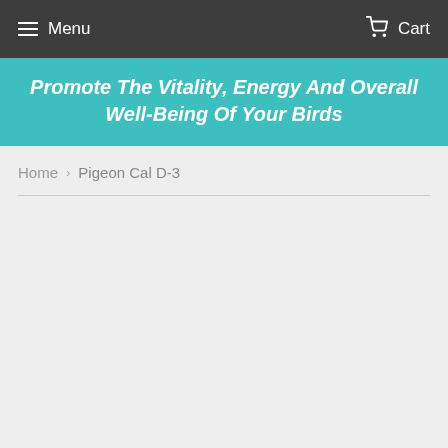Menu  Cart
Promote The Vitality, Energy And Overall Well-Being Of Your Birds
Home › Pigeon Cal D-3